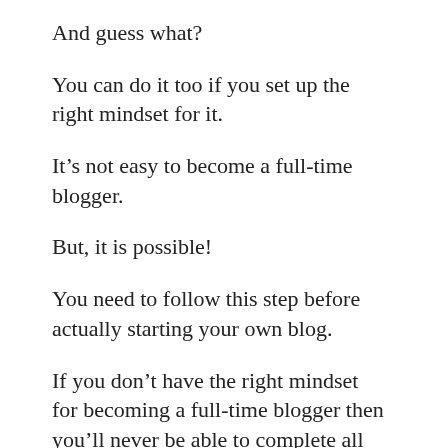And guess what?
You can do it too if you set up the right mindset for it.
It’s not easy to become a full-time blogger.
But, it is possible!
You need to follow this step before actually starting your own blog.
If you don’t have the right mindset for becoming a full-time blogger then you’ll never be able to complete all the other steps in this